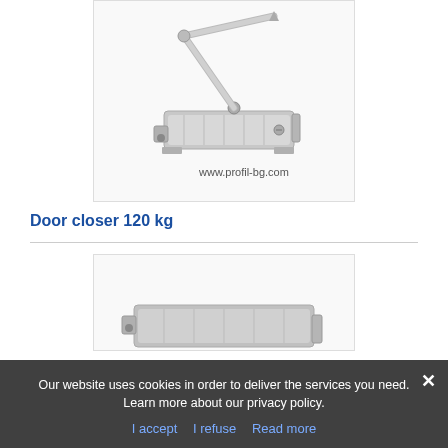[Figure (photo): Silver door closer device with arm mechanism, shown on white background with watermark text www.profil-bg.com]
Door closer 120 kg
[Figure (photo): Partial view of another door closer product, silver colored, cut off at bottom]
Our website uses cookies in order to deliver the services you need. Learn more about our privacy policy.
I accept  I refuse  Read more